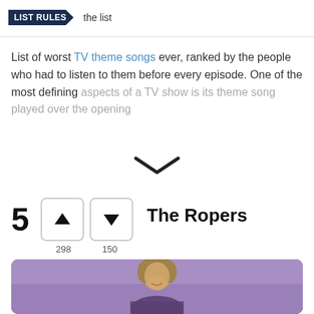LIST RULES — the list
List of worst TV theme songs ever, ranked by the people who had to listen to them before every episode. One of the most defining aspects of a TV show is its theme song played over the opening
5  The Ropers  [298 up votes, 150 down votes]
[Figure (photo): Woman with short brown hair smiling against a purple background, appears to be a still from The Ropers TV show]